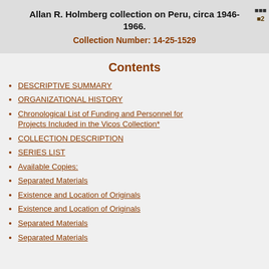Allan R. Holmberg collection on Peru, circa 1946-1966.
Collection Number: 14-25-1529
Contents
DESCRIPTIVE SUMMARY
ORGANIZATIONAL HISTORY
Chronological List of Funding and Personnel for Projects Included in the Vicos Collection*
COLLECTION DESCRIPTION
SERIES LIST
Available Copies:
Separated Materials
Existence and Location of Originals
Existence and Location of Originals
Separated Materials
Separated Materials